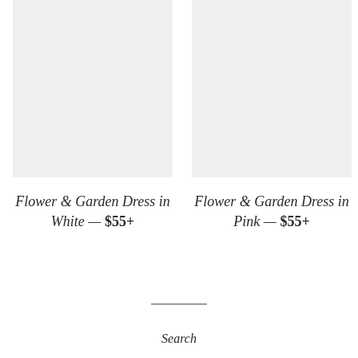[Figure (photo): Product image placeholder for Flower & Garden Dress in White — light gray square]
Flower & Garden Dress in White — $55+
[Figure (photo): Product image placeholder for Flower & Garden Dress in Pink — light gray square]
Flower & Garden Dress in Pink — $55+
Search